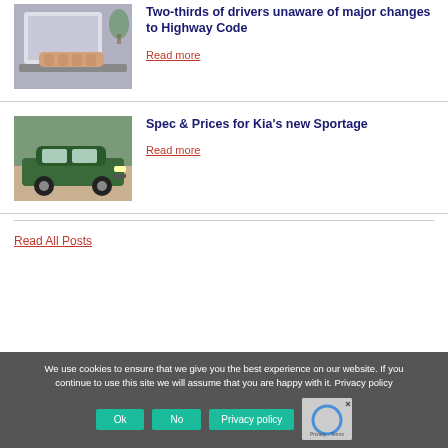[Figure (photo): Person typing on a laptop computer, viewed from above]
Two-thirds of drivers unaware of major changes to Highway Code
Read more
[Figure (photo): Green Kia Sportage SUV parked outdoors]
Spec & Prices for Kia's new Sportage
Read more
Read All Posts
We use cookies to ensure that we give you the best experience on our website. If you continue to use this site we will assume that you are happy with it. Privacy policy